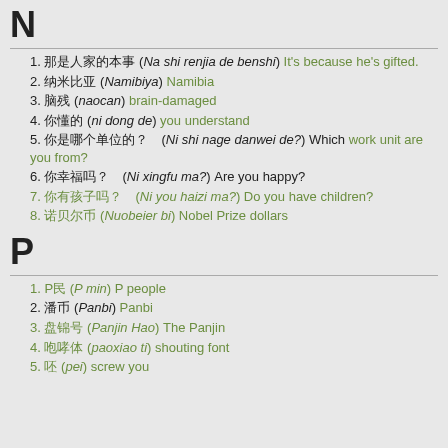N
1. 那是人家的本事 (Na shi renjia de benshi) It's because he's gifted.
2. 纳米比亚 (Namibiya) Namibia
3. 脑残 (naocan) brain-damaged
4. 你懂的 (ni dong de) you understand
5. 你是哪个单位的？（Ni shi nage danwei de?）Which work unit are you from?
6. 你幸福吗？（Ni xingfu ma?）Are you happy?
7. 你有孩子吗？（Ni you haizi ma?）Do you have children?
8. 诺贝尔币 (Nuobeier bi) Nobel Prize dollars
P
1. P民 (P min) P people
2. 潘币 (Panbi) Panbi
3. 盘锦号 (Panjin Hao) The Panjin
4. 咆哮体 (paoxiao ti) shouting font
5. 呸 (pei) screw you